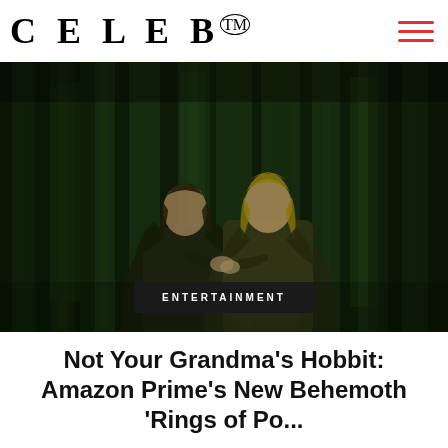CELEB™
[Figure (photo): Two figures in dark robes, resembling fantasy characters from a Lord of the Rings-style setting, standing against a deep green forested backdrop, holding hands facing each other.]
ENTERTAINMENT
Not Your Grandma's Hobbit: Amazon Prime's New Behemoth 'Rings of Po...